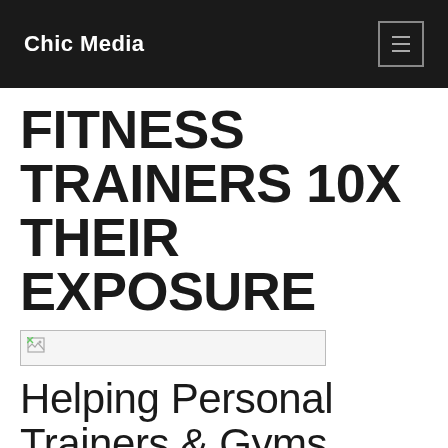Chic Media
FITNESS TRAINERS 10X THEIR EXPOSURE
[Figure (photo): Broken/unloaded image placeholder]
Helping Personal Trainers & Gyms Reach More Customers